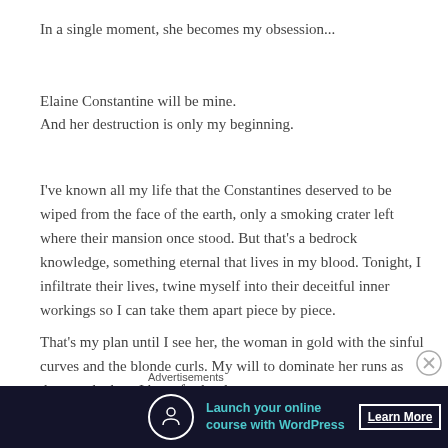In a single moment, she becomes my obsession...
Elaine Constantine will be mine.
And her destruction is only my beginning.
I've known all my life that the Constantines deserved to be wiped from the face of the earth, only a smoking crater left where their mansion once stood. But that's a bedrock knowledge, something eternal that lives in my blood. Tonight, I infiltrate their lives, twine myself into their deceitful inner workings so I can take them apart piece by piece.
That's my plan until I see her, the woman in gold with the sinful curves and the blonde curls. My will to dominate her runs as deep as the hate I have for her last name.
Advertisements
[Figure (infographic): Dark advertisement banner: Launch your online course with WordPress - Learn More button, with circular tree/person icon]